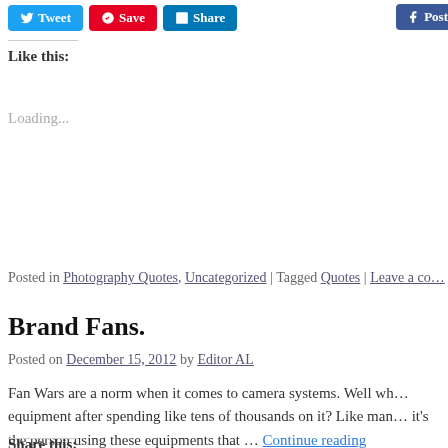[Figure (screenshot): Social sharing buttons: Tweet (blue), Save (red), Share (LinkedIn blue), and Post (Facebook dark blue, partially cut off)]
Like this:
Loading...
Posted in Photography Quotes, Uncategorized | Tagged Quotes | Leave a co…
Brand Fans.
Posted on December 15, 2012 by Editor AL
Fan Wars are a norm when it comes to camera systems. Well wh… equipment after spending like tens of thousands on it? Like man… it's the person using these equipments that … Continue reading
Share this: